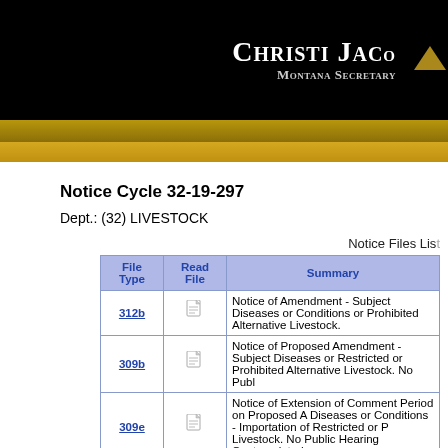CHRISTI JACOBS Montana Secretary
Notice Cycle 32-19-297
Dept.: (32) LIVESTOCK
Notice Files List
| File Type | Read File | Summary |
| --- | --- | --- |
| 312b | [icon] | Notice of Amendment - Subject Diseases or Conditions or Prohibited Alternative Livestock. |
| 309b | [icon] | Notice of Proposed Amendment - Subject Diseases or Restricted or Prohibited Alternative Livestock. No Publ |
| 309e | [icon] | Notice of Extension of Comment Period on Proposed A Diseases or Conditions - Importation of Restricted or P Livestock. No Public Hearing Contemplated. |
Rule Actions List